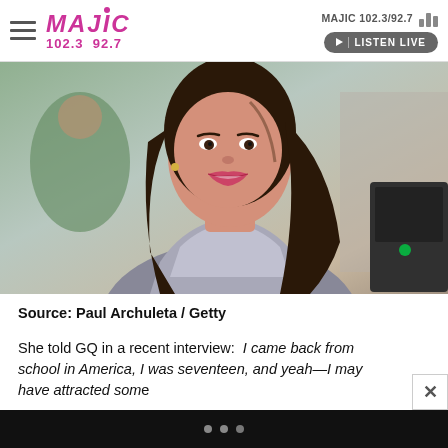MAJIC 102.3/92.7
[Figure (photo): Photo of a young woman with long dark hair wearing a sparkling silver top, smiling, photographed at an outdoor event. Credit: Paul Archuleta / Getty]
Source: Paul Archuleta / Getty
She told GQ in a recent interview: I came back from school in America, I was seventeen, and yeah—I may have attracted some attention. I can say that. [laughs] So my dad, you know, being a...